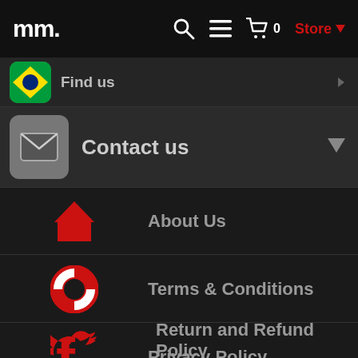mm. [search] [menu] [cart 0] Store
[Figure (screenshot): Navigation menu of a website (mm.) with dark theme showing: Find us row (partially visible), Contact us section with email icon, then sub-menu items: About Us (home icon), Terms & Conditions (life preserver icon), Privacy Policy (Facebook icon), Return and Refund Policy (Twitter icon), and a partially visible social icon at bottom.]
Find us
Contact us
About Us
Terms & Conditions
Privacy Policy
Return and Refund Policy